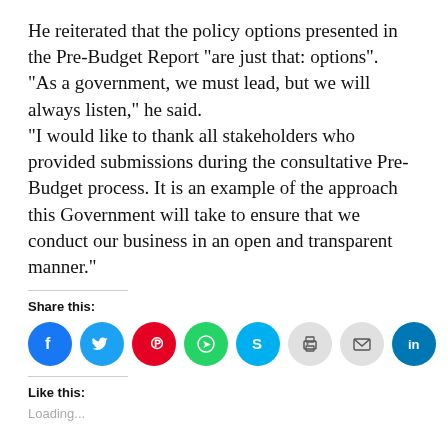He reiterated that the policy options presented in the Pre-Budget Report “are just that: options”. “As a government, we must lead, but we will always listen,” he said. “I would like to thank all stakeholders who provided submissions during the consultative Pre-Budget process. It is an example of the approach this Government will take to ensure that we conduct our business in an open and transparent manner.”
Share this:
[Figure (infographic): Social media share buttons: Facebook, Twitter, Pinterest, WhatsApp, Skype, Print, Email, LinkedIn]
Like this:
Loading...